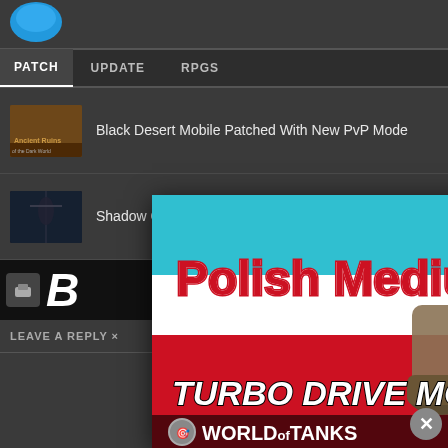PATCH  UPDATE  RPGS
Black Desert Mobile Patched With New PvP Mode
Shadow Of Mordor Receives Mysterious Update
B... MME...
LEAVE A REPLY ×
[Figure (photo): World of Tanks advertisement banner showing a Polish Medium Tank with Polish flag background, text: Polish Medium Tank! TURBO DRIVE MODE ENABLED!! WORLD of TANKS PLAY FOR FREE!]
n to
ent